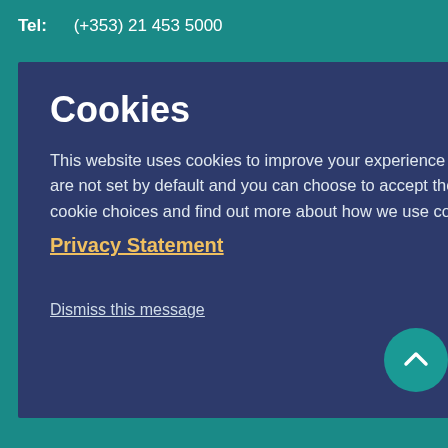Tel: (+353) 21 453 5000
Cookies
This website uses cookies to improve your experience and to monitor the site traffic. Non-essential cookies are not set by default and you can choose to accept them by clicking on the 'Accept' button. To manage your cookie choices and find out more about how we use cookies visit our
Privacy Statement
Dismiss this message
Accept